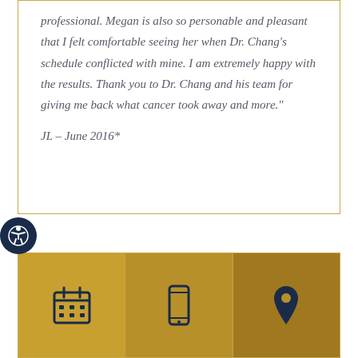professional. Megan is also so personable and pleasant that I felt comfortable seeing her when Dr. Chang's schedule conflicted with mine. I am extremely happy with the results. Thank you to Dr. Chang and his team for giving me back what cancer took away and more."
JL – June 2016*
[Figure (infographic): Three golden/gold-gradient panels each containing a dark navy icon: a calendar icon, a mobile phone icon, and a map pin/location icon]